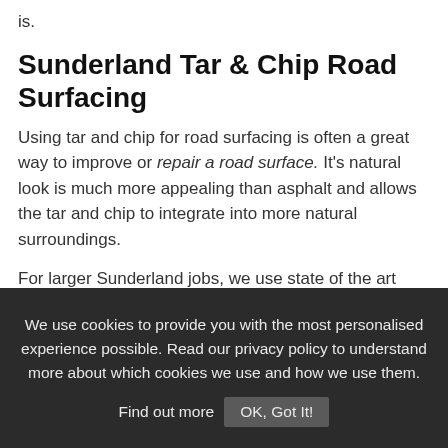is.
Sunderland Tar & Chip Road Surfacing
Using tar and chip for road surfacing is often a great way to improve or repair a road surface. It's natural look is much more appealing than asphalt and allows the tar and chip to integrate into more natural surroundings.
For larger Sunderland jobs, we use state of the art computer controlled tar and chip feeders. This has a one pass surface dressing system which allows the chips to be fed onto the hot
We use cookies to provide you with the most personalised experience possible. Read our privacy policy to understand more about which cookies we use and how we use them. Find out more  OK, Got It!